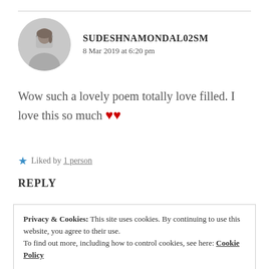SUDESHNAMONDAL02SM
8 Mar 2019 at 6:20 pm
Wow such a lovely poem totally love filled. I love this so much ❤❤
★ Liked by 1 person
REPLY
Privacy & Cookies: This site uses cookies. By continuing to use this website, you agree to their use. To find out more, including how to control cookies, see here: Cookie Policy
Close and accept